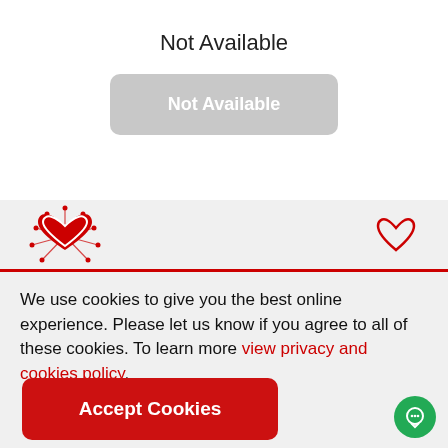Not Available
[Figure (illustration): Gray rounded rectangle button with white bold text 'Not Available']
[Figure (logo): Red heart with radiating lines logo on light gray bar, with red heart outline icon on the right]
We use cookies to give you the best online experience. Please let us know if you agree to all of these cookies. To learn more view privacy and cookies policy.
[Figure (illustration): Red rounded rectangle button with white bold text 'Accept Cookies']
[Figure (illustration): Green circular chat bubble button with white chat icon, bottom right corner]